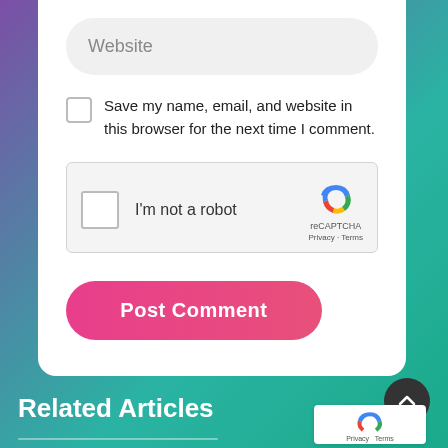Website
Save my name, email, and website in this browser for the next time I comment.
[Figure (other): reCAPTCHA widget with checkbox labeled 'I'm not a robot', reCAPTCHA logo, and Privacy - Terms links]
Post Comment
Related Articles